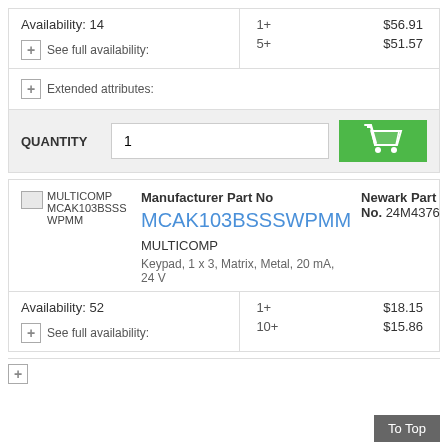Availability: 14
+ See full availability:
| Qty | Price |
| --- | --- |
| 1+ | $56.91 |
| 5+ | $51.57 |
+ Extended attributes:
QUANTITY  1
[Figure (other): Shopping cart icon (add to cart button)]
[Figure (photo): MULTICOMP MCAK103BSSSWPMM product image (broken/placeholder)]
Manufacturer Part No
MCAK103BSSSWPMM
Newark Part No. 24M4376
MULTICOMP
Keypad, 1 x 3, Matrix, Metal, 20 mA, 24 V
Availability: 52
+ See full availability:
| Qty | Price |
| --- | --- |
| 1+ | $18.15 |
| 10+ | $15.86 |
To Top